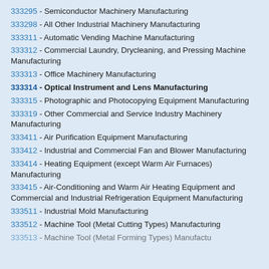333295 - Semiconductor Machinery Manufacturing
333298 - All Other Industrial Machinery Manufacturing
333311 - Automatic Vending Machine Manufacturing
333312 - Commercial Laundry, Drycleaning, and Pressing Machine Manufacturing
333313 - Office Machinery Manufacturing
333314 - Optical Instrument and Lens Manufacturing
333315 - Photographic and Photocopying Equipment Manufacturing
333319 - Other Commercial and Service Industry Machinery Manufacturing
333411 - Air Purification Equipment Manufacturing
333412 - Industrial and Commercial Fan and Blower Manufacturing
333414 - Heating Equipment (except Warm Air Furnaces) Manufacturing
333415 - Air-Conditioning and Warm Air Heating Equipment and Commercial and Industrial Refrigeration Equipment Manufacturing
333511 - Industrial Mold Manufacturing
333512 - Machine Tool (Metal Cutting Types) Manufacturing
333513 - Machine Tool (Metal Forming Types) Manufacturing